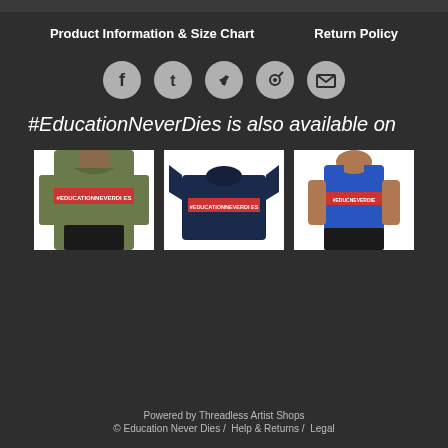Product Information & Size Chart    Return Policy
[Figure (infographic): Row of five social media share icons: Facebook, Tumblr, Twitter, Pinterest, Email — each in a circular grey button]
#EducationNeverDies is also available on
[Figure (photo): Three product photos: 1) Olive green t-shirt with #EducationNeverDies text on chest worn by a person, 2) Navy blue t-shirt with #EducationNeverDies text laid flat, 3) Royal blue tank top with #EducationNeverDies text worn by a person from behind]
Powered by Threadless Artist Shops
© Education Never Dies /  Help & Returns /  Legal